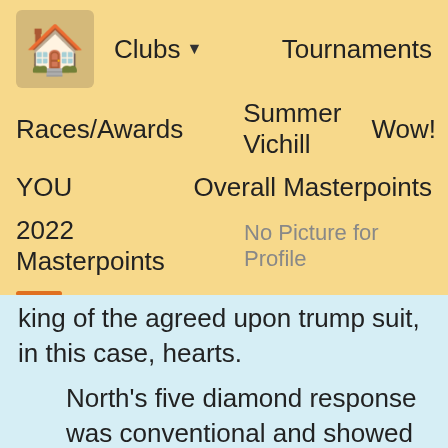Clubs ▼   Tournaments
Races/Awards   Summer Vichill   Wow!
YOU   Overall Masterpoints
2022 Masterpoints   No Picture for Profile
king of the agreed upon trump suit, in this case, hearts.
North's five diamond response was conventional and showed that he held either one or